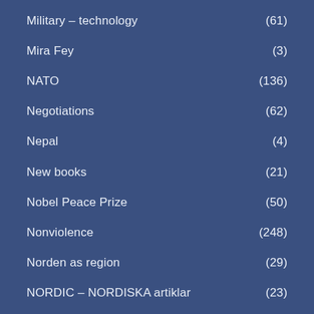Military – technology (61)
Mira Fey (3)
NATO (136)
Negotiations (62)
Nepal (4)
New books (21)
Nobel Peace Prize (50)
Nonviolence (248)
Norden as region (29)
NORDIC – NORDISKA artiklar (23)